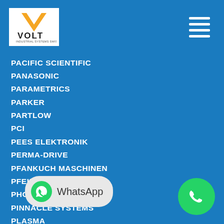VOLT Industrial Systems logo and navigation
PACIFIC SCIENTIFIC
PANASONIC
PARAMETRICS
PARKER
PARTLOW
PCI
PEES ELEKTRONIK
PERMA-DRIVE
PFANKUCH MASCHINEN
PFEIFFER VACUUM
PHOTOSWITCH
PINNACLE SYSTEMS
PLASMA
PM CORPORATION
PMC
PMI MOTION
PMI MOTORS
POLYSPEDE
POWER B...
POWEREX